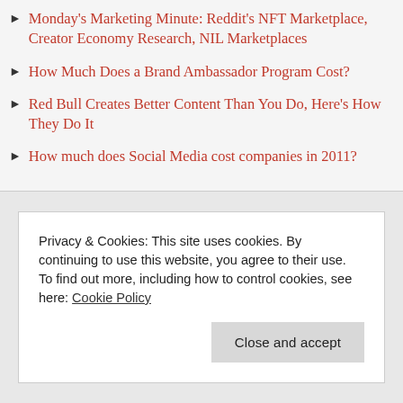Monday's Marketing Minute: Reddit's NFT Marketplace, Creator Economy Research, NIL Marketplaces
How Much Does a Brand Ambassador Program Cost?
Red Bull Creates Better Content Than You Do, Here's How They Do It
How much does Social Media cost companies in 2011?
Privacy & Cookies: This site uses cookies. By continuing to use this website, you agree to their use.
To find out more, including how to control cookies, see here: Cookie Policy
Close and accept